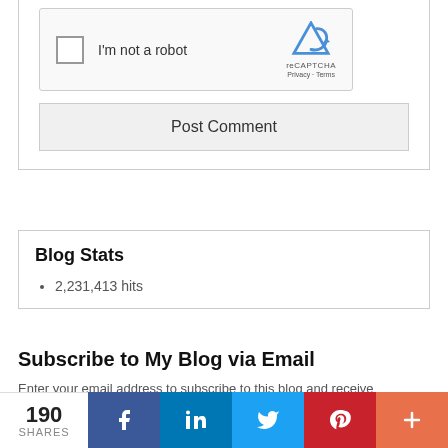[Figure (screenshot): reCAPTCHA widget with checkbox labeled I'm not a robot]
Post Comment
Blog Stats
2,231,413 hits
Subscribe to My Blog via Email
Enter your email address to subscribe to this blog and receive notifications of new posts by email.
Join 6,378 other subscribers
[Figure (screenshot): Social share bar showing 190 SHARES, Facebook, LinkedIn, Twitter, Pinterest, and more buttons]